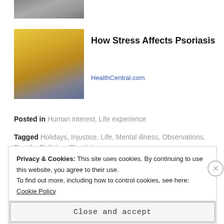[Figure (photo): Partial view of a person, cropped at top of page]
[Figure (photo): Woman in yellow sweater looking at her arm, scratching or examining elbow — illustrating psoriasis]
How Stress Affects Psoriasis
HealthCentral.com
Posted in Human interest, Life experience
Tagged Holidays, Injustice, Life, Mental illness, Observations, People, Religion, Skepticism
Privacy & Cookies: This site uses cookies. By continuing to use this website, you agree to their use.
To find out more, including how to control cookies, see here: Cookie Policy
Close and accept